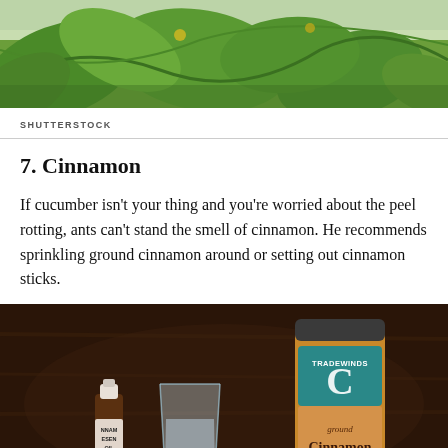[Figure (photo): Close-up photo of green cucumber plant leaves and vines growing]
SHUTTERSTOCK
7. Cinnamon
If cucumber isn't your thing and you're worried about the peel rotting, ants can't stand the smell of cinnamon. He recommends sprinkling ground cinnamon around or setting out cinnamon sticks.
[Figure (photo): Photo of cinnamon-related items on a dark wooden table: a small essential oil bottle, a glass of water, a Tradewinds ground cinnamon jar, a spoon, and several white cotton balls]